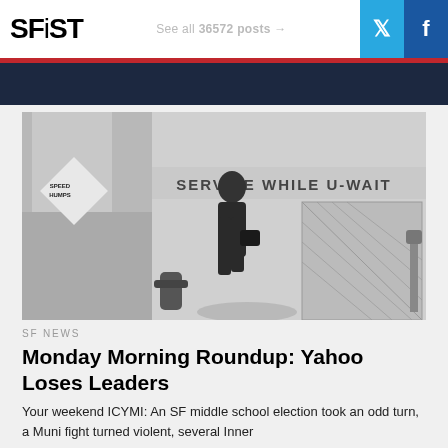SFiST   See all 36572 posts →
[Figure (photo): Black and white street photo of a man in a jacket carrying a bag, walking past a building with 'SERVICE WHILE U-WAIT' lettering and a diamond-shaped 'SPEED HUMPS' sign]
SF NEWS
Monday Morning Roundup: Yahoo Loses Leaders
Your weekend ICYMI: An SF middle school election took an odd turn, a Muni fight turned violent, several Inner